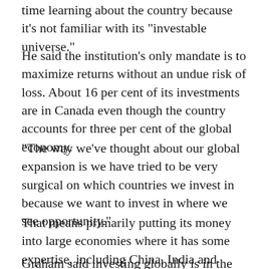time learning about the country because it's not familiar with its "investable universe."
He said the institution's only mandate is to maximize returns without an undue risk of loss. About 16 per cent of its investments are in Canada even though the country accounts for three per cent of the global economy.
"The way we've thought about our global expansion is we have tried to be very surgical on which countries we invest in because we want to invest in where we see opportunity."
That means primarily putting its money into large economies where it has some expertise, including China, India and Brazil.
Graham said investing globally is in the best interests of its 21 million contributors and beneficiaries.